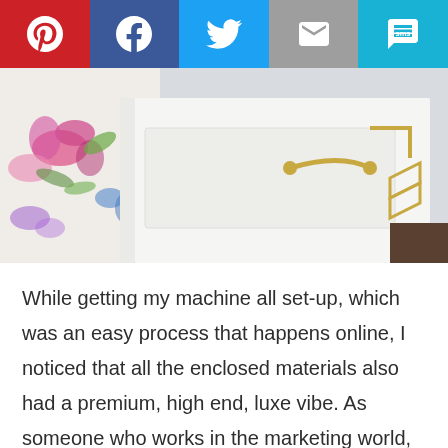[Figure (infographic): Social sharing bar with Pinterest (red), Facebook (dark blue), Twitter (light blue), Email (grey), and SMS (teal) buttons]
[Figure (photo): Close-up photo of a white dresser drawer with gold hardware handles and decorative chevron accents, next to floral fabric/wallpaper]
While getting my machine all set-up, which was an easy process that happens online, I noticed that all the enclosed materials also had a premium, high end, luxe vibe. As someone who works in the marketing world, these little touches do stand out to me.